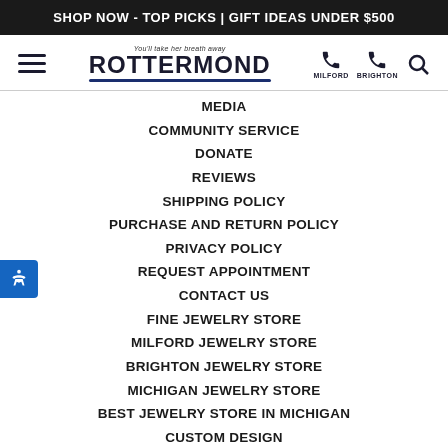SHOP NOW - TOP PICKS | GIFT IDEAS UNDER $500
[Figure (logo): Rottermond Jewelers logo with tagline 'You'll take her breath away', hamburger menu icon, phone icons for Milford and Brighton locations, and search icon]
MEDIA
COMMUNITY SERVICE
DONATE
REVIEWS
SHIPPING POLICY
PURCHASE AND RETURN POLICY
PRIVACY POLICY
REQUEST APPOINTMENT
CONTACT US
FINE JEWELRY STORE
MILFORD JEWELRY STORE
BRIGHTON JEWELRY STORE
MICHIGAN JEWELRY STORE
BEST JEWELRY STORE IN MICHIGAN
CUSTOM DESIGN
INSURANCE REPLACEMENT
GIFTS UNDER $500